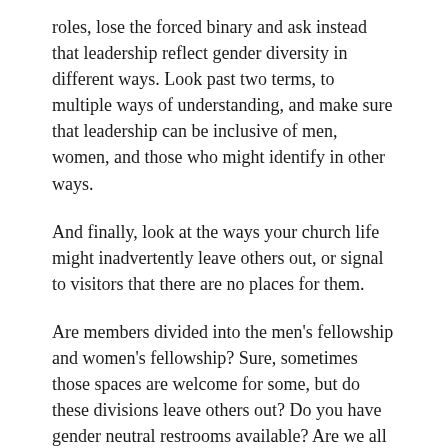roles, lose the forced binary and ask instead that leadership reflect gender diversity in different ways. Look past two terms, to multiple ways of understanding, and make sure that leadership can be inclusive of men, women, and those who might identify in other ways.
And finally, look at the ways your church life might inadvertently leave others out, or signal to visitors that there are no places for them.
Are members divided into the men's fellowship and women's fellowship? Sure, sometimes those spaces are welcome for some, but do these divisions leave others out? Do you have gender neutral restrooms available? Are we all “brothers” and “sisters”, or are we all simply “beloved”?